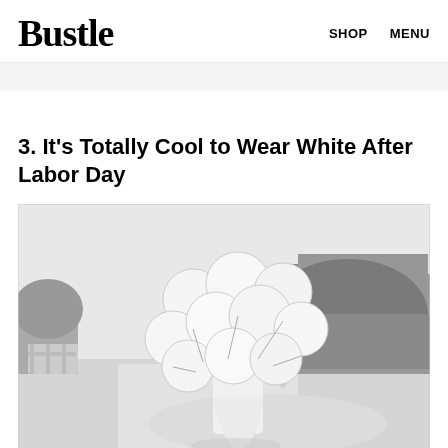Bustle   SHOP   MENU
3. It's Totally Cool to Wear White After Labor Day
[Figure (photo): Black and white photograph of a person holding a large bunch of white balloons outdoors on a path, with trees in the background.]